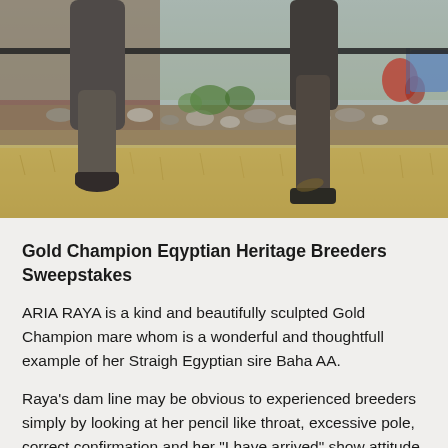[Figure (photo): Close-up photograph of horse legs (two legs visible) mid-trot on dry grass with rocks, greenery, a fence rail, and colorful items in the blurred background.]
Gold Champion Eqyptian Heritage Breeders Sweepstakes
ARIA RAYA is a kind and beautifully sculpted Gold Champion mare whom is a wonderful and thoughtfull example of her Straigh Egyptian sire Baha AA.
Raya's dam line may be obvious to experienced breeders simply by looking at her pencil like throat, excessive pole, correct confirmation and her "I have arrived" show attitude. Raya's dam is Rhianna EEW out of the undeniable Tri...